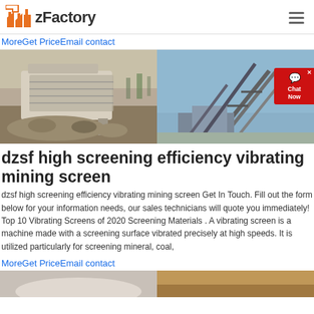zFactory
MoreGet PriceEmail contact
[Figure (photo): Two photos side by side: left shows a vibrating mining screen machine with rocky material on the ground outdoors; right shows an industrial conveyor and screening structure against a blue sky.]
dzsf high screening efficiency vibrating mining screen
dzsf high screening efficiency vibrating mining screen Get In Touch. Fill out the form below for your information needs, our sales technicians will quote you immediately! Top 10 Vibrating Screens of 2020 Screening Materials . A vibrating screen is a machine made with a screening surface vibrated precisely at high speeds. It is utilized particularly for screening mineral, coal,
MoreGet PriceEmail contact
[Figure (photo): Bottom portion showing two more industrial machinery/mining site photos partially visible.]